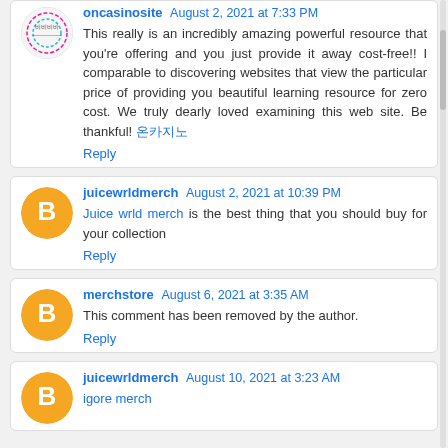oncasinosite August 2, 2021 at 7:33 PM
This really is an incredibly amazing powerful resource that you're offering and you just provide it away cost-free!! I comparable to discovering websites that view the particular price of providing you beautiful learning resource for zero cost. We truly dearly loved examining this web site. Be thankful! 온카지노
Reply
juicewrldmerch August 2, 2021 at 10:39 PM
Juice wrld merch is the best thing that you should buy for your collection
Reply
merchstore August 6, 2021 at 3:35 AM
This comment has been removed by the author.
Reply
juicewrldmerch August 10, 2021 at 3:23 AM
igore merch